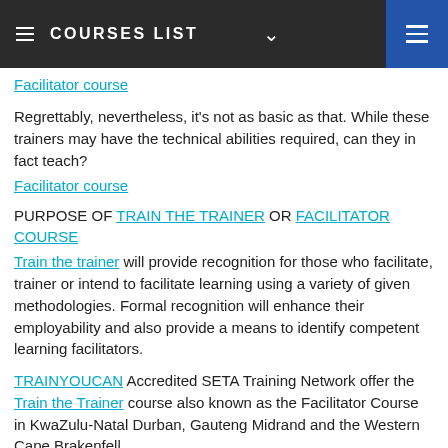COURSES LIST
Facilitator course
Regrettably, nevertheless, it's not as basic as that. While these trainers may have the technical abilities required, can they in fact teach?
Facilitator course
PURPOSE OF TRAIN THE TRAINER OR FACILITATOR COURSE
Train the trainer will provide recognition for those who facilitate, trainer or intend to facilitate learning using a variety of given methodologies. Formal recognition will enhance their employability and also provide a means to identify competent learning facilitators.
TRAINYOUCAN Accredited SETA Training Network offer the Train the Trainer course also known as the Facilitator Course in KwaZulu-Natal Durban, Gauteng Midrand and the Western Cape Brakenfell.